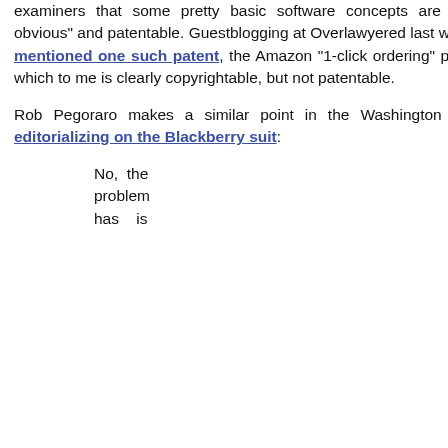examiners that some pretty basic software concepts are "non-obvious" and patentable. Guestblogging at Overlawyered last week, I mentioned one such patent, the Amazon "1-click ordering" patent, which to me is clearly copyrightable, but not patentable.
Rob Pegoraro makes a similar point in the Washington Post, editorializing on the Blackberry suit:
No, the problem has is
February 2009
January 2009
December 2008
November 2008
October 2008
September 2008
August 2008
July 2008
June 2008
May 2008
April 2008
March 2008
February 2008
January 2008
December 2007
November 2007
October 2007
September 2007
August 2007
July 2007
June 2007
May 2007